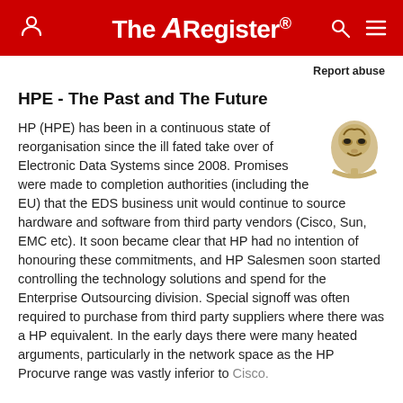The Register
Report abuse
HPE - The Past and The Future
[Figure (illustration): Guy Fawkes / Anonymous mask icon in gold/beige tones]
HP (HPE) has been in a continuous state of reorganisation since the ill fated take over of Electronic Data Systems since 2008. Promises were made to completion authorities (including the EU) that the EDS business unit would continue to source hardware and software from third party vendors (Cisco, Sun, EMC etc). It soon became clear that HP had no intention of honouring these commitments, and HP Salesmen soon started controlling the technology solutions and spend for the Enterprise Outsourcing division. Special signoff was often required to purchase from third party suppliers where there was a HP equivalent. In the early days there were many heated arguments, particularly in the network space as the HP Procurve range was vastly inferior to Cisco.